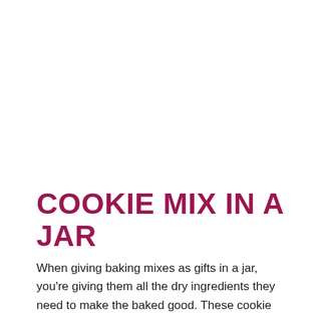COOKIE MIX IN A JAR
When giving baking mixes as gifts in a jar, you're giving them all the dry ingredients they need to make the baked good. These cookie mixes can be